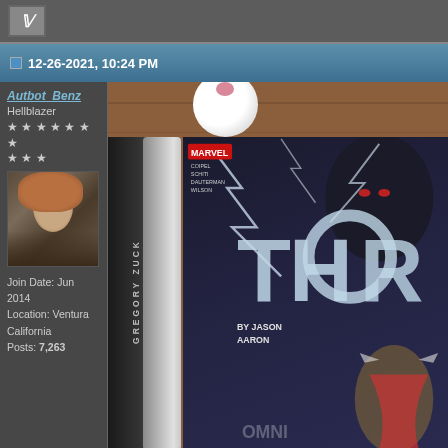[Figure (screenshot): Top bar of forum page with a bold italic V icon on dark gray background]
12-26-2021, 10:24 PM
Autbot_Benz
Hellblazer
★★★★★★★
★★★
[Figure (photo): Avatar photo of a person with long hair making a gesture, wearing patterned clothing]
Join Date: Jun 2014
Location: Ventura California
Posts: 7,263
[Figure (photo): Photo of Thor omnibus comic book by Jason Aaron (Marvel), showing Thor on cover, alongside what appears to be another book spine reading GREGORY, on a wooden table with a white pom-pom in upper area]